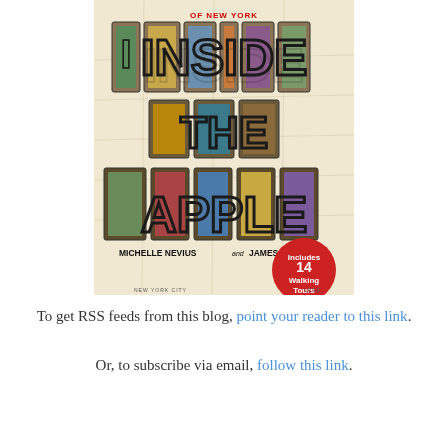[Figure (illustration): Book cover of 'Inside the Apple: A Streetwise History of New York City' by Michelle Nevius and James Nevius. The cover features large decorative letters spelling 'INSIDE THE APPLE' filled with vintage postcard images of New York City landmarks. A red circle badge reads 'Includes 14 Walking Tours'. Background shows an old NYC map.]
To get RSS feeds from this blog, point your reader to this link.
Or, to subscribe via email, follow this link.